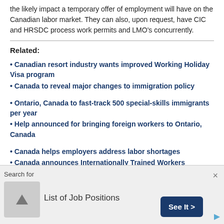the likely impact a temporary offer of employment will have on the Canadian labor market. They can also, upon request, have CIC and HRSDC process work permits and LMO's concurrently.
Related:
• Canadian resort industry wants improved Working Holiday Visa program
• Canada to reveal major changes to immigration policy
• Ontario, Canada to fast-track 500 special-skills immigrants per year
• Help announced for bringing foreign workers to Ontario, Canada
• Canada helps employers address labor shortages
• Canada announces Internationally Trained Workers
[Figure (infographic): Advertisement bar at bottom: Search for text, scroll-up button, 'List of Job Positions' label, 'See It >' dark blue button, close X button, small play icon]